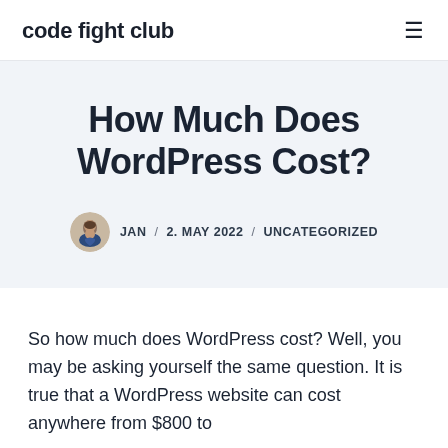code fight club
How Much Does WordPress Cost?
JAN / 2. MAY 2022 / UNCATEGORIZED
So how much does WordPress cost? Well, you may be asking yourself the same question. It is true that a WordPress website can cost anywhere from $800 to